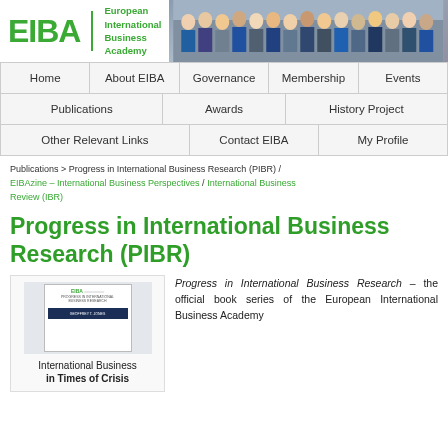[Figure (photo): EIBA logo with European International Business Academy text and group photo of business people in header]
Home | About EIBA | Governance | Membership | Events | Publications | Awards | History Project | Other Relevant Links | Contact EIBA | My Profile
Publications > Progress in International Business Research (PIBR) / EIBAzine – International Business Perspectives / International Business Review (IBR)
Progress in International Business Research (PIBR)
[Figure (photo): Book cover showing EIBA Progress in International Business Research book, with caption International Business in Times of Crisis]
Progress in International Business Research – the official book series of the European International Business Academy